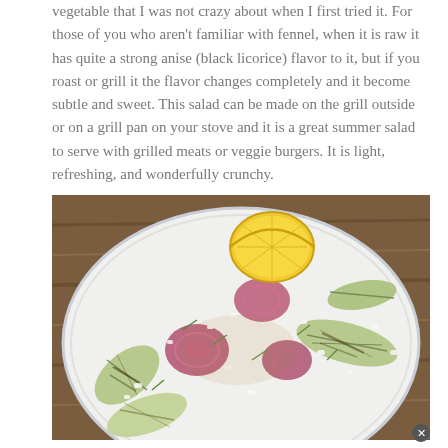vegetable that I was not crazy about when I first tried it. For those of you who aren't familiar with fennel, when it is raw it has quite a strong anise (black licorice) flavor to it, but if you roast or grill it the flavor changes completely and it become subtle and sweet. This salad can be made on the grill outside or on a grill pan on your stove and it is a great summer salad to serve with grilled meats or veggie burgers. It is light, refreshing, and wonderfully crunchy.
[Figure (photo): A white plate with grilled fennel wedges, grilled red onion pieces, crumbled white cheese, and a lemon half, photographed from above on a wooden table surface.]